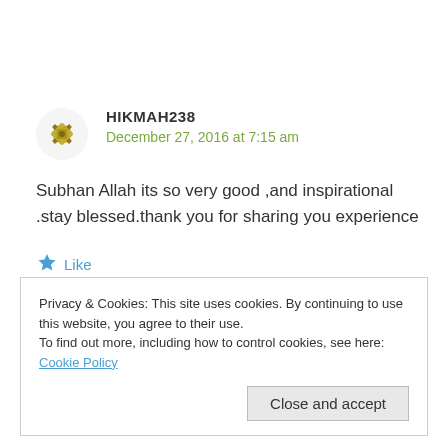[Figure (illustration): Decorative avatar icon with olive/gold geometric snowflake pattern]
HIKMAH238
December 27, 2016 at 7:15 am
Subhan Allah its so very good ,and inspirational .stay blessed.thank you for sharing you experience
Like
Privacy & Cookies: This site uses cookies. By continuing to use this website, you agree to their use.
To find out more, including how to control cookies, see here: Cookie Policy
Close and accept